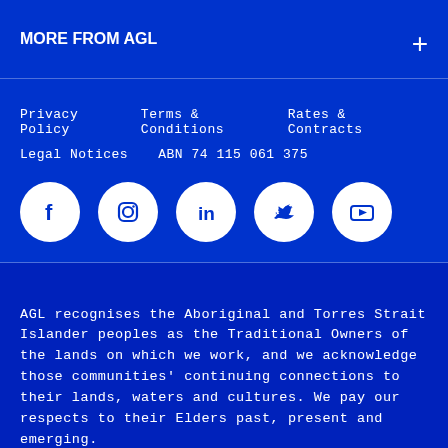MORE FROM AGL
Privacy Policy   Terms & Conditions   Rates & Contracts
Legal Notices   ABN 74 115 061 375
[Figure (other): Social media icons row: Facebook, Instagram, LinkedIn, Twitter, YouTube — white circles on blue background]
AGL recognises the Aboriginal and Torres Strait Islander peoples as the Traditional Owners of the lands on which we work, and we acknowledge those communities' continuing connections to their lands, waters and cultures. We pay our respects to their Elders past, present and emerging.